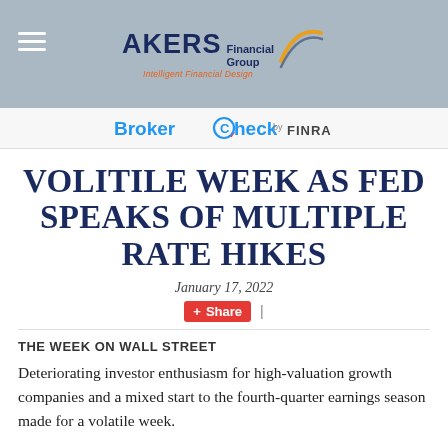Akers Financial Group — Intelligent Financial Design
BrokerCheck by FINRA
VOLITILE WEEK AS FED SPEAKS OF MULTIPLE RATE HIKES
January 17, 2022
+ Share |
THE WEEK ON WALL STREET
Deteriorating investor enthusiasm for high-valuation growth companies and a mixed start to the fourth-quarter earnings season made for a volatile week.